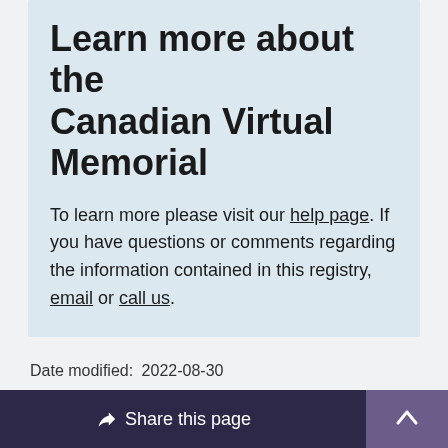Learn more about the Canadian Virtual Memorial
To learn more please visit our help page. If you have questions or comments regarding the information contained in this registry, email or call us.
Date modified: 2022-08-30
Share this page